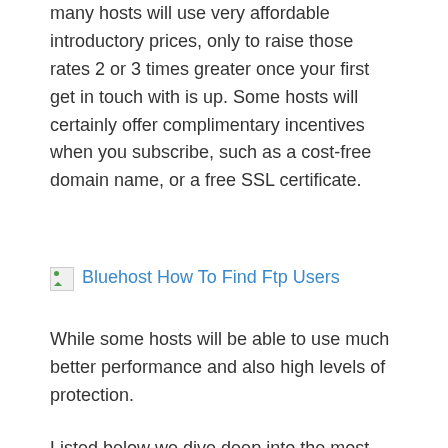many hosts will use very affordable introductory prices, only to raise those rates 2 or 3 times greater once your first get in touch with is up. Some hosts will certainly offer complimentary incentives when you subscribe, such as a cost-free domain name, or a free SSL certificate.
[Figure (other): Broken image placeholder with link text 'Bluehost How To Find Ftp Users']
While some hosts will be able to use much better performance and also high levels of protection.
Listed below we dive deep into the most effective economical